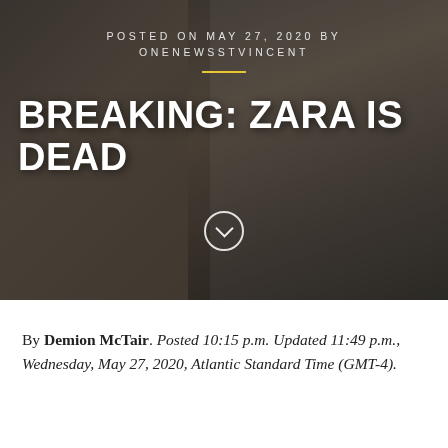[Figure (photo): Hero image showing two people, one in school uniform with backpack straps, overlaid with text about a news article. Dark atmospheric background.]
POSTED ON MAY 27, 2020 BY ONENEWSSTVINCENT
BREAKING: ZARA IS DEAD
By Demion McTair. Posted 10:15 p.m. Updated 11:49 p.m., Wednesday, May 27, 2020, Atlantic Standard Time (GMT-4).